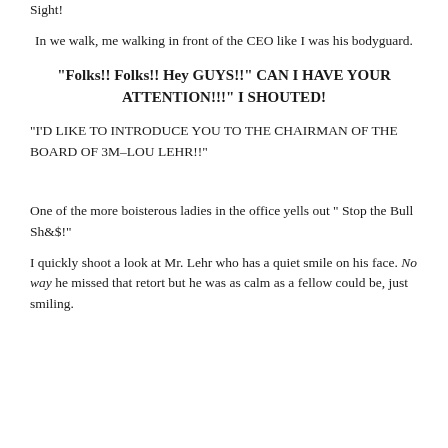Sight!
In we walk, me walking in front of the CEO like I was his bodyguard.
"Folks!! Folks!! Hey GUYS!!" CAN I HAVE YOUR ATTENTION!!!" I SHOUTED!
"I'D LIKE TO INTRODUCE YOU TO THE CHAIRMAN OF THE BOARD OF 3M–LOU LEHR!!"
One of the more boisterous ladies in the office yells out " Stop the Bull Sh&$!"
I quickly shoot a look at Mr. Lehr who has a quiet smile on his face. No way he missed that retort but he was as calm as a fellow could be, just smiling.